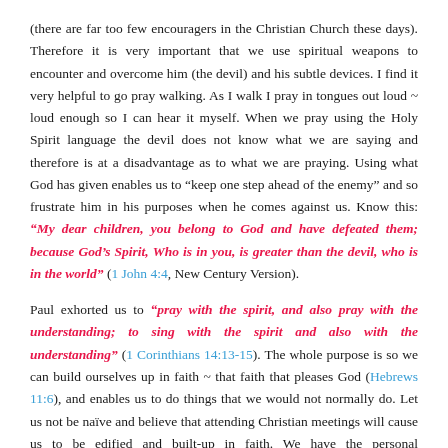(there are far too few encouragers in the Christian Church these days). Therefore it is very important that we use spiritual weapons to encounter and overcome him (the devil) and his subtle devices. I find it very helpful to go pray walking. As I walk I pray in tongues out loud ~ loud enough so I can hear it myself. When we pray using the Holy Spirit language the devil does not know what we are saying and therefore is at a disadvantage as to what we are praying. Using what God has given enables us to "keep one step ahead of the enemy" and so frustrate him in his purposes when he comes against us. Know this: "My dear children, you belong to God and have defeated them; because God's Spirit, Who is in you, is greater than the devil, who is in the world" (1 John 4:4, New Century Version).
Paul exhorted us to "pray with the spirit, and also pray with the understanding; to sing with the spirit and also with the understanding" (1 Corinthians 14:13-15). The whole purpose is so we can build ourselves up in faith ~ that faith that pleases God (Hebrews 11:6), and enables us to do things that we would not normally do. Let us not be naïve and believe that attending Christian meetings will cause us to be edified and built-up in faith. We have the personal responsibility to "build ourselves up on our most holy faith, praying in the Holy Spirit." Prove for yourself the value of believing God and using what He has provided for us. God Bless You.